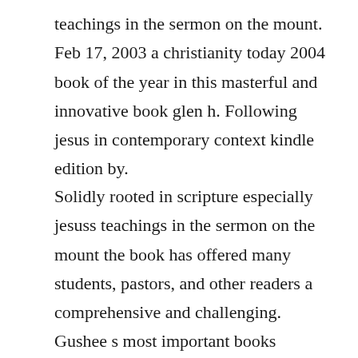teachings in the sermon on the mount. Feb 17, 2003 a christianity today 2004 book of the year in this masterful and innovative book glen h. Following jesus in contemporary context kindle edition by.
Solidly rooted in scripture especially jesuss teachings in the sermon on the mount the book has offered many students, pastors, and other readers a comprehensive and challenging. Gushee s most important books include kingdom ethics with glen stassen, 2003, the sacredness of human life 20, and